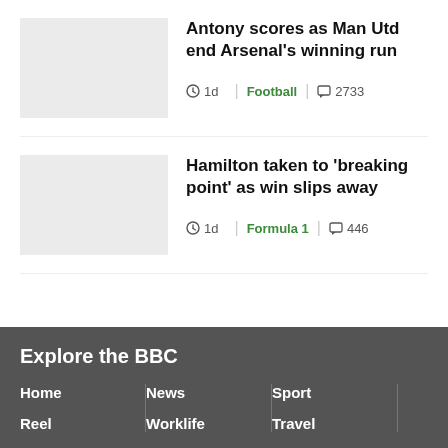[Figure (photo): Thumbnail placeholder for Antony scores as Man Utd end Arsenal's winning run]
Antony scores as Man Utd end Arsenal's winning run
1d | Football | 2733
[Figure (photo): Thumbnail placeholder for Hamilton taken to 'breaking point' as win slips away]
Hamilton taken to 'breaking point' as win slips away
1d | Formula 1 | 446
Explore the BBC
Home
News
Sport
Reel
Worklife
Travel